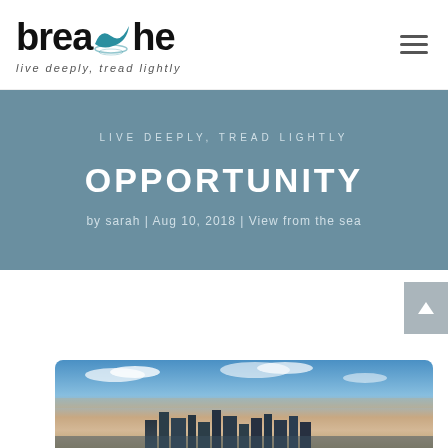[Figure (logo): Breathe logo with whale tail icon and tagline 'live deeply, tread lightly']
LIVE DEEPLY, TREAD LIGHTLY
OPPORTUNITY
by sarah | Aug 10, 2018 | View from the sea
[Figure (photo): City skyline photograph at dusk with blue and orange sky]